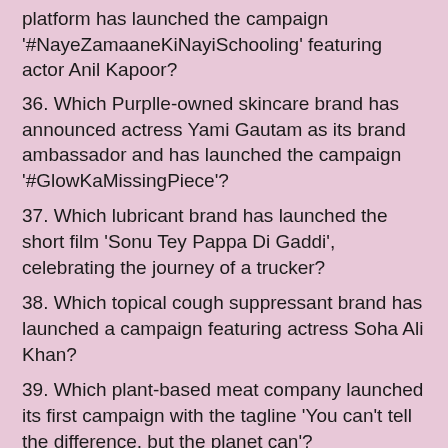platform has launched the campaign '#NayeZamaaneKiNayiSchooling' featuring actor Anil Kapoor?
36. Which Purplle-owned skincare brand has announced actress Yami Gautam as its brand ambassador and has launched the campaign '#GlowKaMissingPiece'?
37. Which lubricant brand has launched the short film 'Sonu Tey Pappa Di Gaddi', celebrating the journey of a trucker?
38. Which topical cough suppressant brand has launched a campaign featuring actress Soha Ali Khan?
39. Which plant-based meat company launched its first campaign with the tagline 'You can't tell the difference, but the planet can'?
40. Shriram City Union Finance said it has crossed the milestone of financing how many two-wheelers?
41. Which food products company has released an ad for its